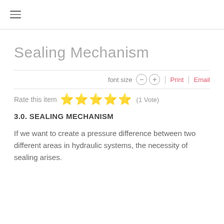≡
Sealing Mechanism
font size  −  +  |  Print  |  Email
Rate this item  ★★★★★  (1 Vote)
3.0. SEALING MECHANISM
If we want to create a pressure difference between two different areas in hydraulic systems, the necessity of sealing arises.